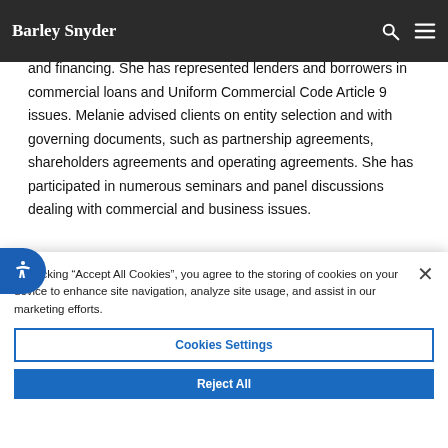Barley Snyder
sales and purchases and counseling business owners and managers with transactions, contracts, commercial matters and financing. She has represented lenders and borrowers in commercial loans and Uniform Commercial Code Article 9 issues. Melanie advised clients on entity selection and with governing documents, such as partnership agreements, shareholders agreements and operating agreements. She has participated in numerous seminars and panel discussions dealing with commercial and business issues.
By clicking "Accept All Cookies", you agree to the storing of cookies on your device to enhance site navigation, analyze site usage, and assist in our marketing efforts.
Cookies Settings
Reject All